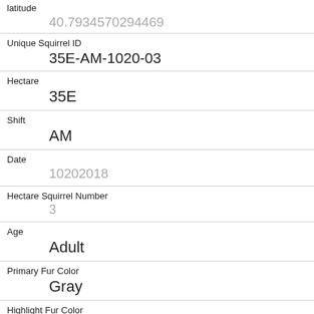| Field | Value |
| --- | --- |
| latitude | 40.7934570294469 |
| Unique Squirrel ID | 35E-AM-1020-03 |
| Hectare | 35E |
| Shift | AM |
| Date | 10202018 |
| Hectare Squirrel Number | 3 |
| Age | Adult |
| Primary Fur Color | Gray |
| Highlight Fur Color | Cinnamon |
| Combination of Primary and Highlight Color | Gray+Cinnamon |